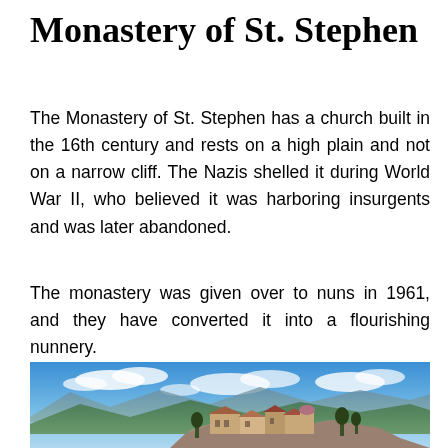Monastery of St. Stephen
The Monastery of St. Stephen has a church built in the 16th century and rests on a high plain and not on a narrow cliff. The Nazis shelled it during World War II, who believed it was harboring insurgents and was later abandoned.
The monastery was given over to nuns in 1961, and they have converted it into a flourishing nunnery.
[Figure (photo): Photograph of the Monastery of St. Stephen perched on rocky cliffs with mountains and blue sky in the background.]